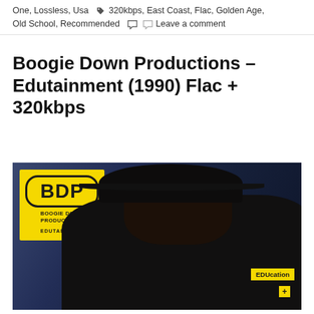One, Lossless, Usa  🏷 320kbps, East Coast, Flac, Golden Age, Old School, Recommended  💬 🗨 Leave a comment
Boogie Down Productions – Edutainment (1990) Flac + 320kbps
[Figure (photo): Album cover for Boogie Down Productions – Edutainment (1990). Features a Black man wearing a dark cap and jacket against a blurred urban background. In the upper left is a yellow BDP (Boogie Down Productions) logo with 'EDUTAINMENT' text. In the lower right are yellow badges reading 'EDUcation' and '+'.]